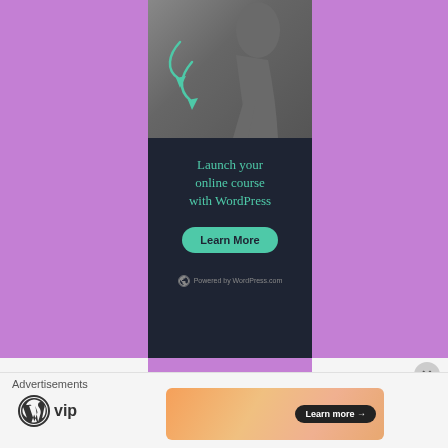[Figure (illustration): WordPress.com advertisement showing a kneeling figure with teal arrows, dark background panel with headline and Learn More button on purple background]
Launch your online course with WordPress
Learn More
Powered by WordPress.com
Advertisements
[Figure (logo): WordPress VIP logo]
[Figure (illustration): Orange gradient banner ad with Learn more arrow button]